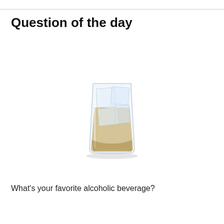Question of the day
[Figure (photo): A rocks glass (lowball glass) filled with an amber/yellow liquid (likely whiskey or a cocktail) and large ice cubes, photographed on a white background with a slight shadow beneath.]
What's your favorite alcoholic beverage?